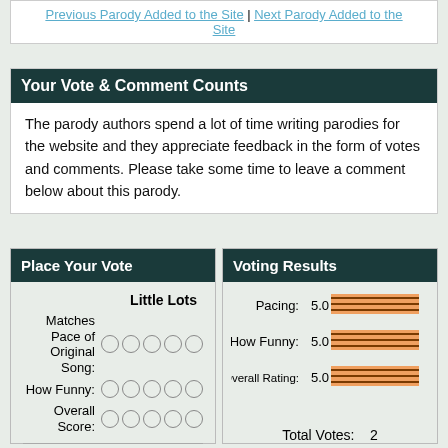Previous Parody Added to the Site | Next Parody Added to the Site
Your Vote & Comment Counts
The parody authors spend a lot of time writing parodies for the website and they appreciate feedback in the form of votes and comments. Please take some time to leave a comment below about this parody.
Place Your Vote
Little Lots
Matches Pace of Original Song: (radio buttons)
How Funny: (radio buttons)
Overall Score: (radio buttons)
Place Your Vote (button)
Voting Results
[Figure (bar-chart): Voting Results]
Total Votes:   2